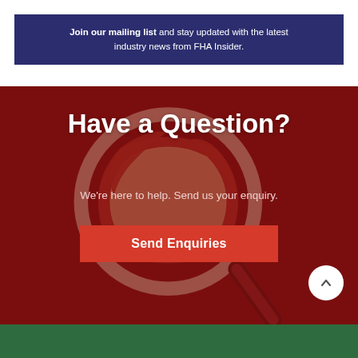Join our mailing list and stay updated with the latest industry news from FHA Insider.
[Figure (illustration): Dark red background section with a magnifying glass over a sliced apple. Contains headline, subtext, and call-to-action button.]
Have a Question?
We're here to help. Send us your enquiry.
Send Enquiries